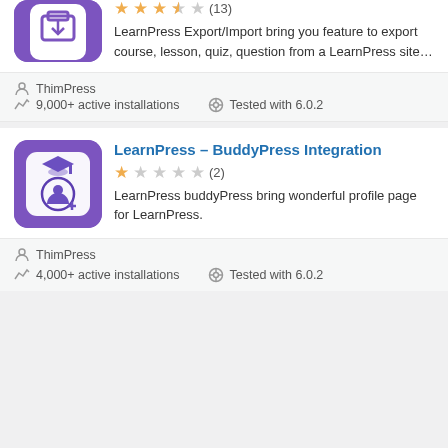[Figure (illustration): Purple rounded square plugin icon with white export/import box icon]
[Figure (other): Star rating: 3.5 out of 5 stars (13 reviews)]
LearnPress Export/Import bring you feature to export course, lesson, quiz, question from a LearnPress site…
ThimPress
9,000+ active installations
Tested with 6.0.2
LearnPress – BuddyPress Integration
[Figure (illustration): Purple rounded square plugin icon with white graduation cap and user profile icon]
[Figure (other): Star rating: 1 out of 5 stars (2 reviews)]
LearnPress buddyPress bring wonderful profile page for LearnPress.
ThimPress
4,000+ active installations
Tested with 6.0.2